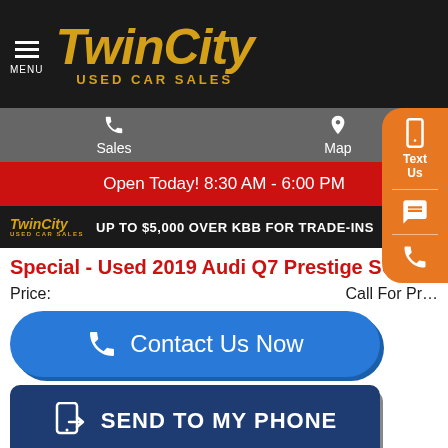Twin City Used Car Sales
Sales | Map
Open Today! 8:30 AM - 6:00 PM
[Figure (screenshot): Twin City Used Car Sales banner with trade-in offer: UP TO $5,000 OVER KBB FOR TRADE-INS]
Special - Used 2019 Audi Q7 Prestige SUV
Price: Call For Price
Contact Us Now
SEND TO MY PHONE
Click to Call
TEXT US
Ext. Color: Samurai Gray Metallic   Int. Color: Black